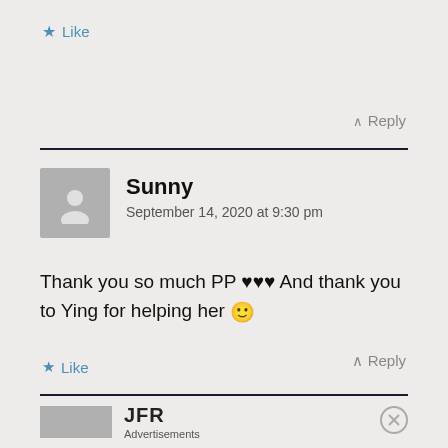★ Like
∧ Reply
Sunny
September 14, 2020 at 9:30 pm
Thank you so much PP ♥♥♥ And thank you to Ying for helping her 🙂
★ Like
∧ Reply
[Figure (other): Advertisement banner with JFR logo and Advertisements label]
Advertisements